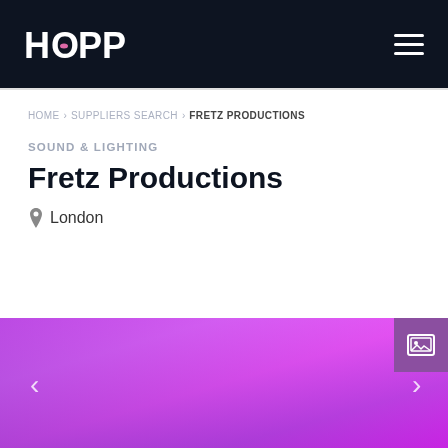HOPP
HOME > SUPPLIERS SEARCH > FRETZ PRODUCTIONS
SOUND & LIGHTING
Fretz Productions
London
[Figure (photo): Purple and magenta gradient background used as a decorative image slider for Fretz Productions supplier page]